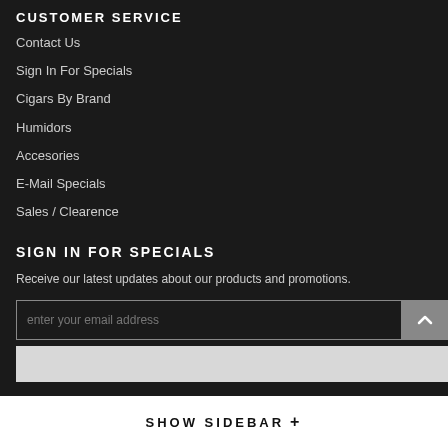CUSTOMER SERVICE
Contact Us
Sign In For Specials
Cigars By Brand
Humidors
Accesories
E-Mail Specials
Sales / Clearence
SIGN IN FOR SPECIALS
Receive our latest updates about our products and promotions.
enter your email address
SHOW SIDEBAR +